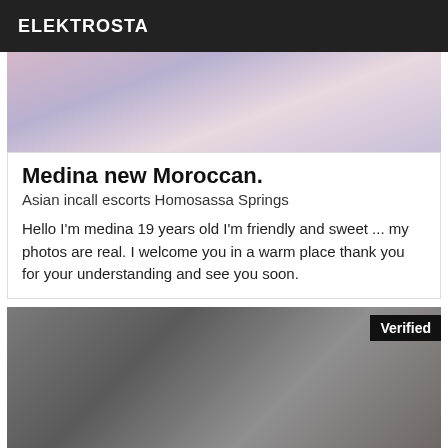ELEKTROSTA
[Figure (photo): Top cropped photo showing fabric/clothing detail in pink and blue-grey tones]
Medina new Moroccan.
Asian incall escorts Homosassa Springs
Hello I'm medina 19 years old I'm friendly and sweet ... my photos are real. I welcome you in a warm place thank you for your understanding and see you soon.
[Figure (photo): Photo of a person in a grey sleeveless dress taking a mirror selfie, with a Verified badge in the top right corner]